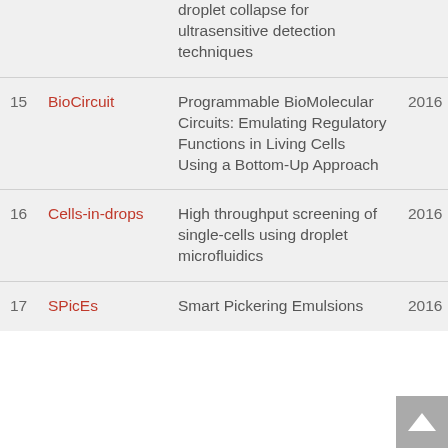| # | Project | Title | Year |
| --- | --- | --- | --- |
|  |  | droplet collapse for ultrasensitive detection techniques |  |
| 15 | BioCircuit | Programmable BioMolecular Circuits: Emulating Regulatory Functions in Living Cells Using a Bottom-Up Approach | 2016 |
| 16 | Cells-in-drops | High throughput screening of single-cells using droplet microfluidics | 2016 |
| 17 | SPicEs | Smart Pickering Emulsions | 2016 |